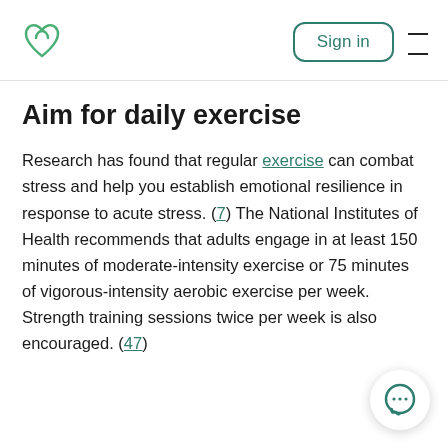[logo] Sign in [menu]
Aim for daily exercise
Research has found that regular exercise can combat stress and help you establish emotional resilience in response to acute stress. (7) The National Institutes of Health recommends that adults engage in at least 150 minutes of moderate-intensity exercise or 75 minutes of vigorous-intensity aerobic exercise per week. Strength training sessions twice per week is also encouraged. (47)